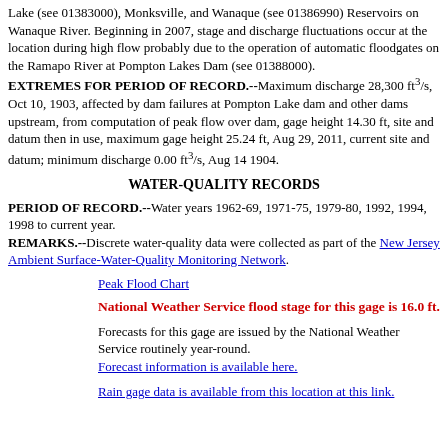Lake (see 01383000), Monksville, and Wanaque (see 01386990) Reservoirs on Wanaque River. Beginning in 2007, stage and discharge fluctuations occur at the location during high flow probably due to the operation of automatic floodgates on the Ramapo River at Pompton Lakes Dam (see 01388000). EXTREMES FOR PERIOD OF RECORD.--Maximum discharge 28,300 ft³/s, Oct 10, 1903, affected by dam failures at Pompton Lake dam and other dams upstream, from computation of peak flow over dam, gage height 14.30 ft, site and datum then in use, maximum gage height 25.24 ft, Aug 29, 2011, current site and datum; minimum discharge 0.00 ft³/s, Aug 14 1904.
WATER-QUALITY RECORDS
PERIOD OF RECORD.--Water years 1962-69, 1971-75, 1979-80, 1992, 1994, 1998 to current year.
REMARKS.--Discrete water-quality data were collected as part of the New Jersey Ambient Surface-Water-Quality Monitoring Network.
Peak Flood Chart
National Weather Service flood stage for this gage is 16.0 ft.
Forecasts for this gage are issued by the National Weather Service routinely year-round. Forecast information is available here.
Rain gage data is available from this location at this link.